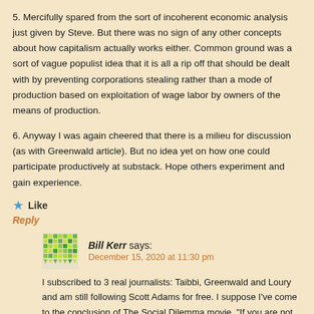5. Mercifully spared from the sort of incoherent economic analysis just given by Steve. But there was no sign of any other concepts about how capitalism actually works either. Common ground was a sort of vague populist idea that it is all a rip off that should be dealt with by preventing corporations stealing rather than a mode of production based on exploitation of wage labor by owners of the means of production.
6. Anyway I was again cheered that there is a milieu for discussion (as with Greenwald article). But no idea yet on how one could participate productively at substack. Hope others experiment and gain experience.
Like
Reply
Bill Kerr says:
December 15, 2020 at 11:30 pm
I subscribed to 3 real journalists: Taibbi, Greenwald and Loury and am still following Scott Adams for free. I suppose I've come to the conclusion of The Social Dilemma movie, "If you are not paying for the product, you are the product" as it applies to social media (but not open source of, course). Might be able to keep up for the next 5 weeks but probably not after that. Currently Greenwald is discussing the possibility that Trump